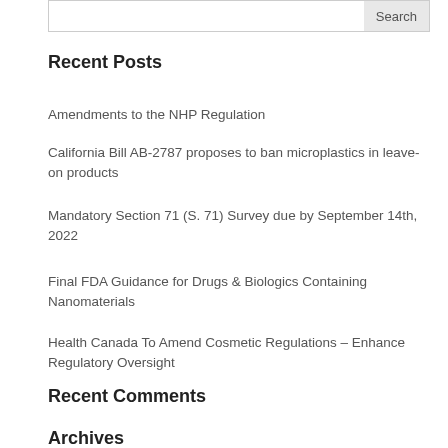Recent Posts
Amendments to the NHP Regulation
California Bill AB-2787 proposes to ban microplastics in leave-on products
Mandatory Section 71 (S. 71) Survey due by September 14th, 2022
Final FDA Guidance for Drugs & Biologics Containing Nanomaterials
Health Canada To Amend Cosmetic Regulations – Enhance Regulatory Oversight
Recent Comments
Archives